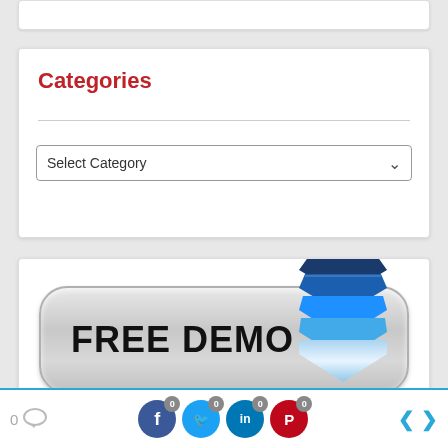Categories
Select Category
[Figure (illustration): FREE DEMO button with blue chevron/arrow logo overlapping the button on the right side]
0 comment icon | 0 Facebook | 0 Twitter | 0 LinkedIn | 0 Pinterest | < >